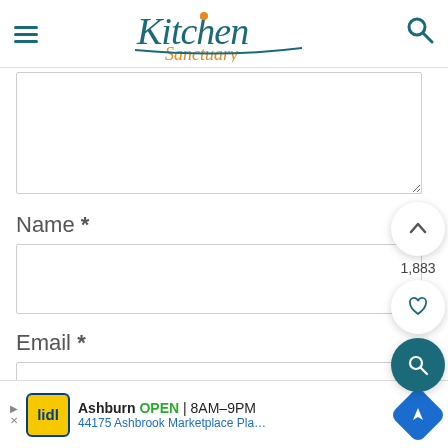[Figure (logo): Kitchen Sanctuary logo with teal handwritten 'Kitchen' text and orange 'Sanctuary' cursive text below]
Name *
Email *
1,883
Ashburn OPEN | 8AM–9PM
44175 Ashbrook Marketplace Pla…